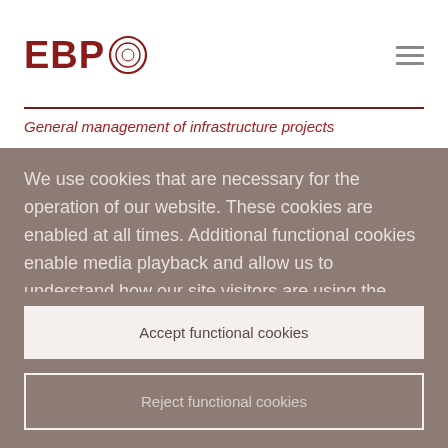[Figure (logo): EBP logo with circular graphic element in dark red]
General management of infrastructure projects
We use cookies that are necessary for the operation of our website. These cookies are enabled at all times. Additional functional cookies enable media playback and allow us to understand how our site visitors are using the content on our website via analytic tools. This enables us to
Accept functional cookies
Reject functional cookies